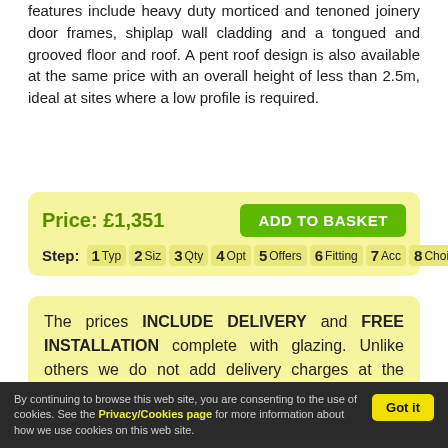features include heavy duty morticed and tenoned joinery door frames, shiplap wall cladding and a tongued and grooved floor and roof. A pent roof design is also available at the same price with an overall height of less than 2.5m, ideal at sites where a low profile is required.
Price: £1,351   ADD TO BASKET   Step: 1 Typ 2 Siz 3 Qty 4 Opt 5 Offers 6 Fitting 7 Acc 8 Choice
The prices INCLUDE DELIVERY and FREE INSTALLATION complete with glazing. Unlike others we do not add delivery charges at the checkout. Local baselaying services are also
By continuing to browse this web site, you are consenting to the use of cookies. See the Privacy/Cookies page for more information about how we use cookies on this web site.